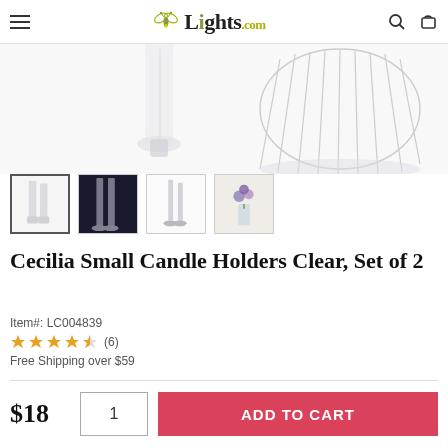Lights.com
[Figure (photo): Close-up product photo of clear glass candle holders, showing transparent ribbed glass details on white background]
[Figure (photo): Thumbnail 1: Two clear glass candle holders on white background (selected)]
[Figure (photo): Thumbnail 2: Two tall candle holders on dark background]
[Figure (photo): Thumbnail 3: Two slim candle holders on white background]
[Figure (photo): Thumbnail 4: Candle holders with purple flowers arrangement]
Cecilia Small Candle Holders Clear, Set of 2
Item#: LC004839
★★★★★ (6)
Free Shipping over $59
$18
ADD TO CART